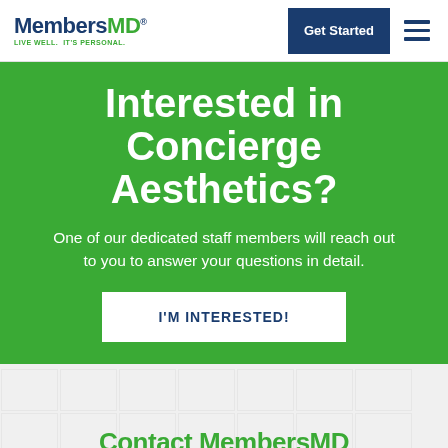MembersMD — LIVE WELL. IT'S PERSONAL. | Get Started
Interested in Concierge Aesthetics?
One of our dedicated staff members will reach out to you to answer your questions in detail.
I'M INTERESTED!
Contact MembersMD